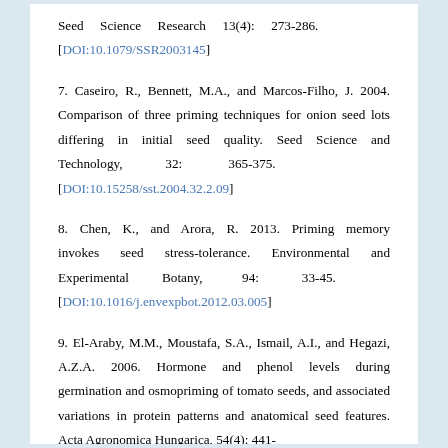Seed Science Research 13(4): 273-286. [DOI:10.1079/SSR2003145]
7. Caseiro, R., Bennett, M.A., and Marcos-Filho, J. 2004. Comparison of three priming techniques for onion seed lots differing in initial seed quality. Seed Science and Technology, 32: 365-375. [DOI:10.15258/sst.2004.32.2.09]
8. Chen, K., and Arora, R. 2013. Priming memory invokes seed stress-tolerance. Environmental and Experimental Botany, 94: 33-45. [DOI:10.1016/j.envexpbot.2012.03.005]
9. El-Araby, M.M., Moustafa, S.A., Ismail, A.I., and Hegazi, A.Z.A. 2006. Hormone and phenol levels during germination and osmopriming of tomato seeds, and associated variations in protein patterns and anatomical seed features. Acta Agronomica Hungarica, 54(4): 441-